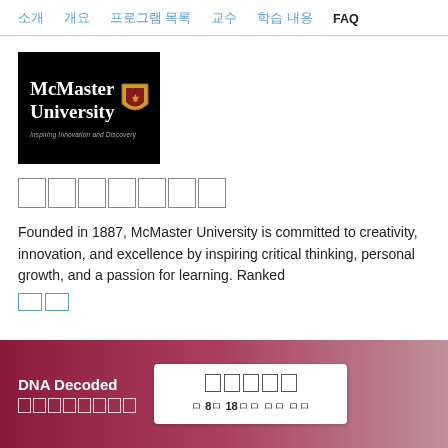소개  개요  프로그램 목록  교수  학습 내용  FAQ
[Figure (logo): McMaster University logo — white text on black background with shield crest and tagline 'Inspiring Innovation and Discovery']
맥마스터대학교
Founded in 1887, McMaster University is committed to creativity, innovation, and excellence by inspiring critical thinking, personal growth, and a passion for learning. Ranked
더 알아
DNA Decoded
맥마스터대학교
무료로 등록
이 8월 18일에 시작 예정 예정